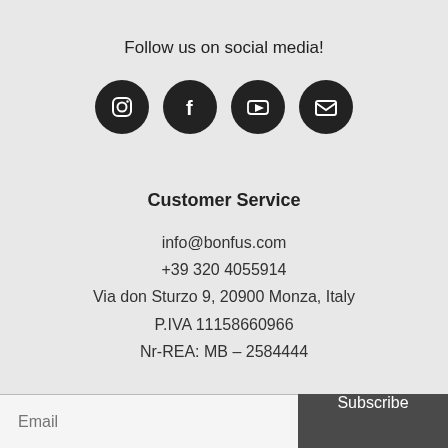Follow us on social media!
[Figure (illustration): Four social media icon circles: Instagram, Facebook, YouTube, Email]
Customer Service
info@bonfus.com
+39 320 4055914
Via don Sturzo 9, 20900 Monza, Italy
P.IVA 11158660966
Nr-REA: MB – 2584444
Subscribe to our newsletter!